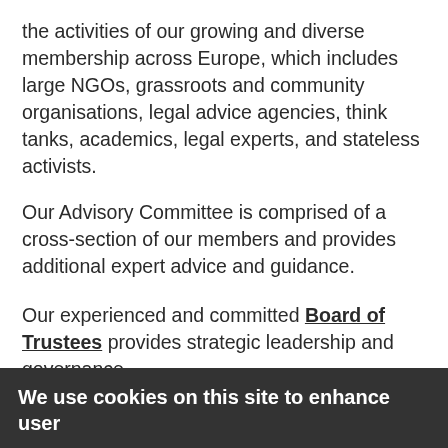the activities of our growing and diverse membership across Europe, which includes large NGOs, grassroots and community organisations, legal advice agencies, think tanks, academics, legal experts, and stateless activists.
Our Advisory Committee is comprised of a cross-section of our members and provides additional expert advice and guidance.
Our experienced and committed Board of Trustees provides strategic leadership and governance.
We use cookies on this site to enhance user